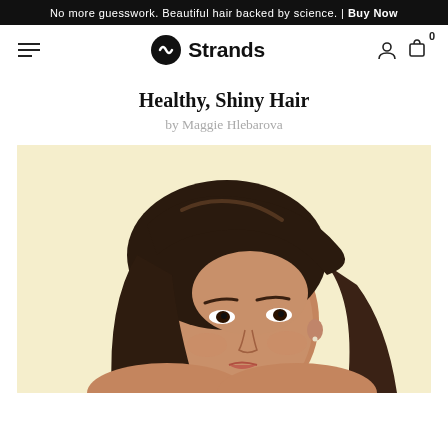No more guesswork. Beautiful hair backed by science. | Buy Now
[Figure (logo): Strands brand logo with hamburger menu, user icon, and cart icon with badge 0]
Healthy, Shiny Hair
by Maggie Hlebarova
[Figure (photo): Portrait photo of a young woman with long dark brown shiny hair against a light yellow background, looking slightly to the side]